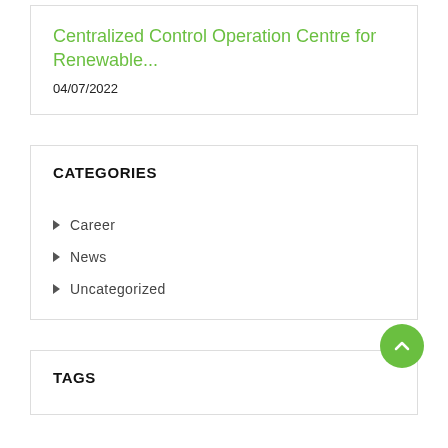Centralized Control Operation Centre for Renewable...
04/07/2022
CATEGORIES
Career
News
Uncategorized
TAGS